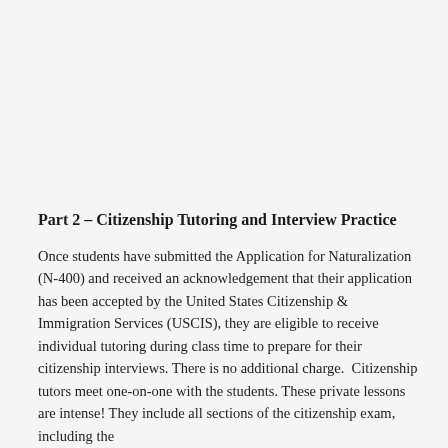Part 2 – Citizenship Tutoring and Interview Practice
Once students have submitted the Application for Naturalization (N-400) and received an acknowledgement that their application has been accepted by the United States Citizenship & Immigration Services (USCIS), they are eligible to receive individual tutoring during class time to prepare for their citizenship interviews. There is no additional charge. Citizenship tutors meet one-on-one with the students. These private lessons are intense! They include all sections of the citizenship exam, including the